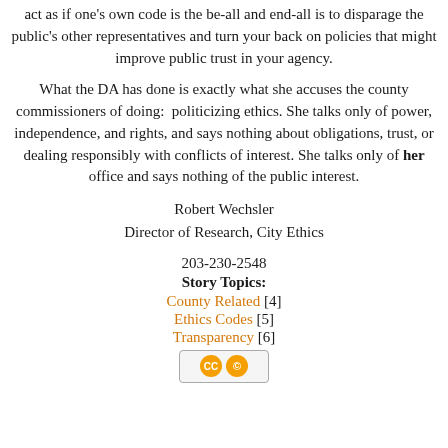act as if one's own code is the be-all and end-all is to disparage the public's other representatives and turn your back on policies that might improve public trust in your agency.
What the DA has done is exactly what she accuses the county commissioners of doing:  politicizing ethics. She talks only of power, independence, and rights, and says nothing about obligations, trust, or dealing responsibly with conflicts of interest. She talks only of her office and says nothing of the public interest.
Robert Wechsler
Director of Research, City Ethics
203-230-2548
Story Topics:
County Related [4]
Ethics Codes [5]
Transparency [6]
[Figure (logo): Creative Commons license icon with CC symbols]